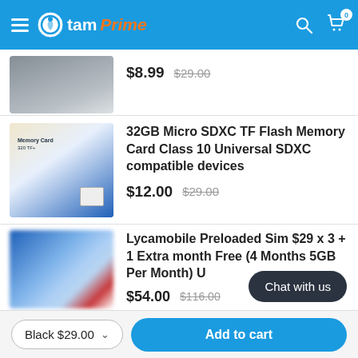StamPrime — navigation header with hamburger menu, logo, search icon, and cart (0 items)
[Figure (photo): Partial product image (top cropped) — appears to be white cable or accessory on dark background]
$8.99  $29.00
[Figure (photo): 32GB Micro SDXC TF Flash Memory Card product packaging — white and blue card with small chip visible]
32GB Micro SDXC TF Flash Memory Card Class 10 Universal SDXC compatible devices
$12.00  $29.00
[Figure (photo): Lycamobile Preloaded SIM card product image — blurred blue, green, red packaging]
Lycamobile Preloaded Sim $29 x 3 + 1 Extra month Free (4 Months 5GB Per Month) U
$54.00  $116.00
Black $29.00   Add to cart   Chat with us